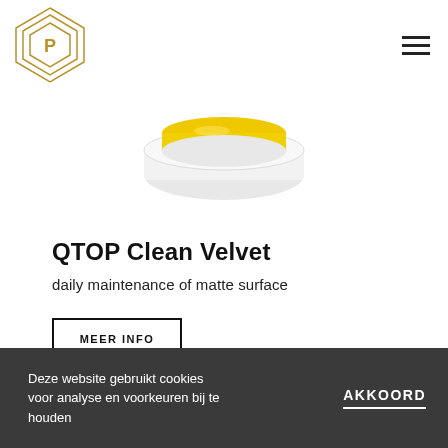[Figure (logo): Diamond-shaped geometric logo with letter P in center, golden/tan colored outline]
[Figure (photo): White circular product jar with yellow lid, partially cropped, centered in frame]
QTOP Clean Velvet
daily maintenance of matte surface
MEER INFO
Deze website gebruikt cookies voor analyse en voorkeuren bij te houden
AKKOORD